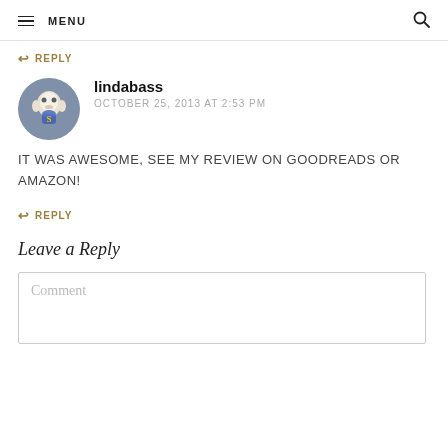MENU
↩ REPLY
lindabass
OCTOBER 25, 2013 AT 2:53 PM
IT WAS AWESOME, SEE MY REVIEW ON GOODREADS OR AMAZON!
↩ REPLY
Leave a Reply
Comment